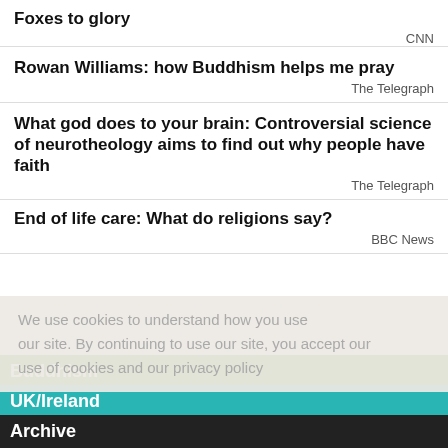Foxes to glory
CNN
Rowan Williams: how Buddhism helps me pray
The Telegraph
What god does to your brain: Controversial science of neurotheology aims to find out why people have faith
The Telegraph
End of life care: What do religions say?
BBC News
We use cookies to understand how you use our site. By continuing to use our site, you accept our use of cookies and our privacy policy
Buddhism
UK/Ireland
Archive
MAY
Dalai Lama wins Templeton Prize, says China